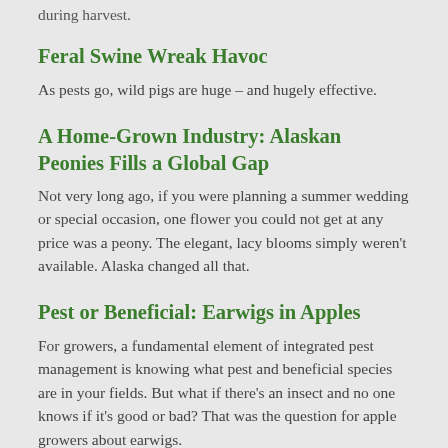during harvest.
Feral Swine Wreak Havoc
As pests go, wild pigs are huge – and hugely effective.
A Home-Grown Industry: Alaskan Peonies Fills a Global Gap
Not very long ago, if you were planning a summer wedding or special occasion, one flower you could not get at any price was a peony. The elegant, lacy blooms simply weren't available. Alaska changed all that.
Pest or Beneficial: Earwigs in Apples
For growers, a fundamental element of integrated pest management is knowing what pest and beneficial species are in your fields. But what if there's an insect and no one knows if it's good or bad? That was the question for apple growers about earwigs.